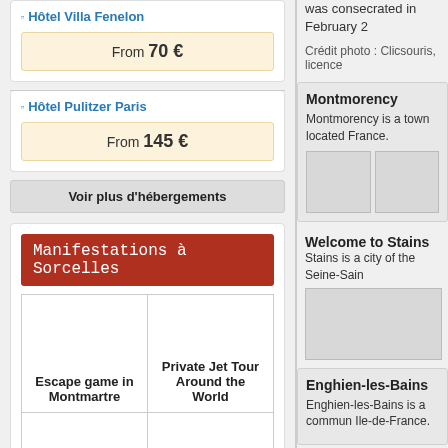Hôtel Villa Fenelon
From 70 €
Hôtel Pulitzer Paris
From 145 €
Voir plus d'hébergements
Manifestations à Sorcelles
Escape game in Montmartre
Private Jet Tour Around the World
Plans-Reliefs collection in Paris
Visit Museum Plans-Reliefs in Paris
Voir plus de manifestations
was consecrated in February 2
Crédit photo : Clicsouris, licence
Montmorency
Montmorency is a town located France.
[Figure (photo): Two image placeholders for Montmorency]
Welcome to Stains
Stains is a city of the Seine-Sain
[Figure (photo): Single image placeholder for Stains]
Enghien-les-Bains
Enghien-les-Bains is a commun Ile-de-France.